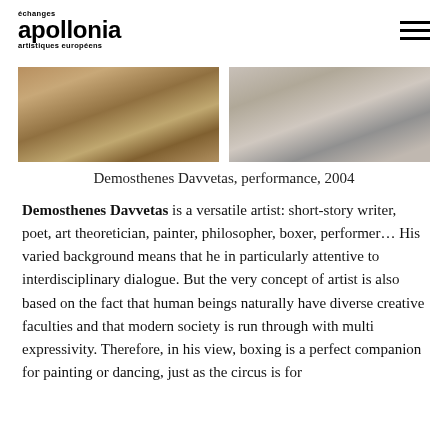échanges apollonia artistiques européens
[Figure (photo): Two photographs side by side: left shows a dog or animal near a wire fence with a person holding a device; right shows a person standing in a white gallery space with an object on the floor.]
Demosthenes Davvetas, performance, 2004
Demosthenes Davvetas is a versatile artist: short-story writer, poet, art theoretician, painter, philosopher, boxer, performer... His varied background means that he in particularly attentive to interdisciplinary dialogue. But the very concept of artist is also based on the fact that human beings naturally have diverse creative faculties and that modern society is run through with multi expressivity. Therefore, in his view, boxing is a perfect companion for painting or dancing, just as the circus is for